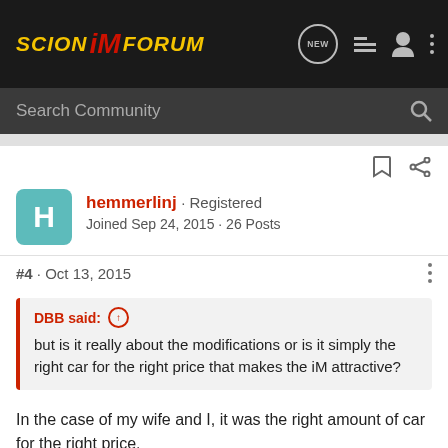SCION iM FORUM
Search Community
hemmerlinj · Registered
Joined Sep 24, 2015 · 26 Posts
#4 · Oct 13, 2015
DBB said: ↑
but is it really about the modifications or is it simply the right car for the right price that makes the iM attractive?
In the case of my wife and I, it was the right amount of car for the right price.